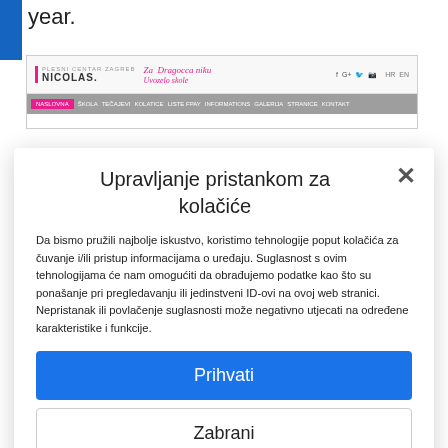year.
[Figure (screenshot): Screenshot of Nicolas fitness center website header with logo, tagline, social icons, language switcher, and navigation bar]
Upravljanje pristankom za kolačiće
Da bismo pružili najbolje iskustvo, koristimo tehnologije poput kolačića za čuvanje i/ili pristup informacijama o uređaju. Suglasnost s ovim tehnologijama će nam omogućiti da obrađujemo podatke kao što su ponašanje pri pregledavanju ili jedinstveni ID-ovi na ovoj web stranici. Nepristanak ili povlačenje suglasnosti može negativno utjecati na određene karakteristike i funkcije.
Prihvati
Zabrani
Politika Kolačića